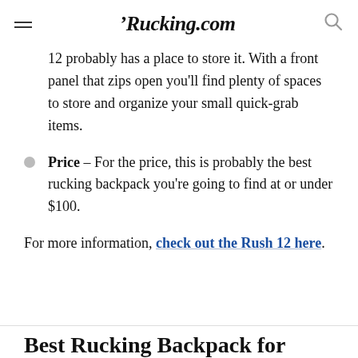≡  ‌Rucking.com  🔍
12 probably has a place to store it. With a front panel that zips open you'll find plenty of spaces to store and organize your small quick-grab items.
Price – For the price, this is probably the best rucking backpack you're going to find at or under $100.
For more information, check out the Rush 12 here.
Best Rucking Backpack for...